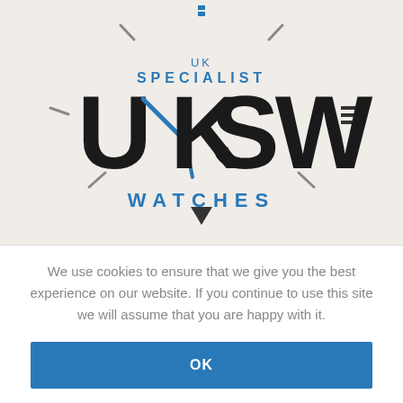[Figure (logo): UK Specialist Watches (UKSW) logo on a beige/cream background with a clock face design. The logo features large black letters 'UKSW' with a blue clock hand, 'UK SPECIALIST' above in blue, 'WATCHES' below in blue, and clock tick marks/hands surrounding the text.]
We use cookies to ensure that we give you the best experience on our website. If you continue to use this site we will assume that you are happy with it.
OK